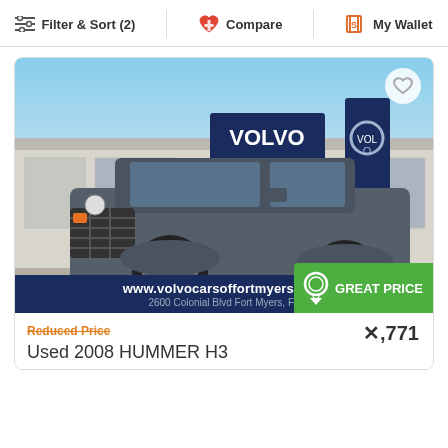Filter & Sort (2)   Compare   My Wallet
[Figure (photo): Photo of a dark gray 2008 Hummer H3 SUV parked in front of a Volvo dealership. A Volvo sign and branded banner are visible in the background. The vehicle has large black off-road wheels and tires. At the bottom of the image is a dark blue dealer banner reading 'www.volvocarsoffortmyers.com, 2600 Colonial Blvd Fort Myers, FL'. A green 'GREAT PRICE' badge is in the bottom right corner.]
Reduced Price
x,771
Used 2008 HUMMER H3